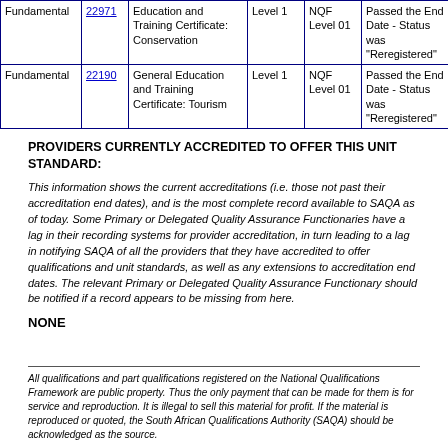|  | ID | Qualification | Level | NQF Level | Status | End Date |  |
| --- | --- | --- | --- | --- | --- | --- | --- |
| Fundamental | 22971 | Education and Training Certificate: Conservation | Level 1 | NQF Level 01 | Passed the End Date - Status was "Reregistered" | 2012-06-30 | CA |
| Fundamental | 22190 | General Education and Training Certificate: Tourism | Level 1 | NQF Level 01 | Passed the End Date - Status was "Reregistered" | 2012-06-30 | CA |
PROVIDERS CURRENTLY ACCREDITED TO OFFER THIS UNIT STANDARD:
This information shows the current accreditations (i.e. those not past their accreditation end dates), and is the most complete record available to SAQA as of today. Some Primary or Delegated Quality Assurance Functionaries have a lag in their recording systems for provider accreditation, in turn leading to a lag in notifying SAQA of all the providers that they have accredited to offer qualifications and unit standards, as well as any extensions to accreditation end dates. The relevant Primary or Delegated Quality Assurance Functionary should be notified if a record appears to be missing from here.
NONE
All qualifications and part qualifications registered on the National Qualifications Framework are public property. Thus the only payment that can be made for them is for service and reproduction. It is illegal to sell this material for profit. If the material is reproduced or quoted, the South African Qualifications Authority (SAQA) should be acknowledged as the source.